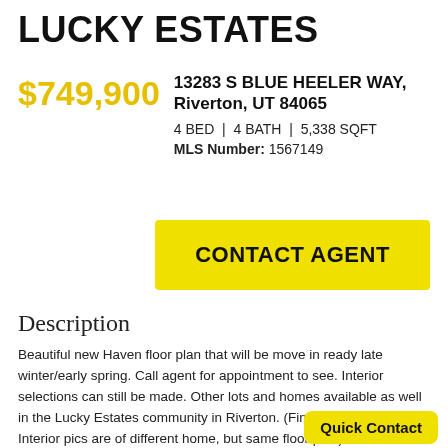LUCKY ESTATES
$749,900  13283 S BLUE HEELER WAY, Riverton, UT 84065  4 BED | 4 BATH | 5,338 SQFT  MLS Number: 1567149
CONTACT AGENT
Description
Beautiful new Haven floor plan that will be move in ready late winter/early spring. Call agent for appointment to see. Interior selections can still be made. Other lots and homes available as well in the Lucky Estates community in Riverton. (Finished Exterior and Interior pics are of different home, but same floor plan).
Quick Contact